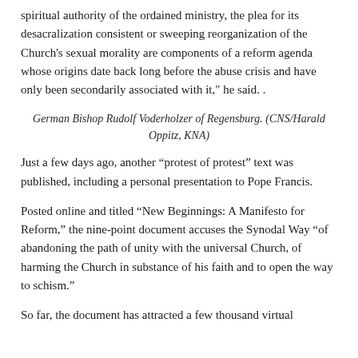spiritual authority of the ordained ministry, the plea for its desacralization consistent or sweeping reorganization of the Church's sexual morality are components of a reform agenda whose origins date back long before the abuse crisis and have only been secondarily associated with it," he said. .
German Bishop Rudolf Voderholzer of Regensburg. (CNS/Harald Oppitz, KNA)
Just a few days ago, another “protest of protest” text was published, including a personal presentation to Pope Francis.
Posted online and titled “New Beginnings: A Manifesto for Reform,” the nine-point document accuses the Synodal Way “of abandoning the path of unity with the universal Church, of harming the Church in substance of his faith and to open the way to schism.”
So far, the document has attracted a few thousand virtual